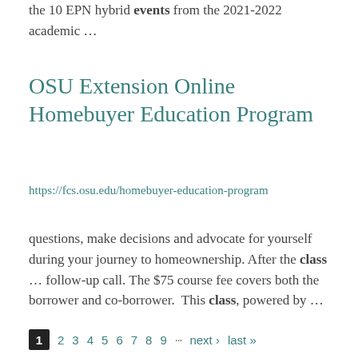the 10 EPN hybrid events from the 2021-2022 academic …
OSU Extension Online Homebuyer Education Program
https://fcs.osu.edu/homebuyer-education-program
questions, make decisions and advocate for yourself during your journey to homeownership. After the class … follow-up call. The $75 course fee covers both the borrower and co-borrower.  This class, powered by …
1  2  3  4  5  6  7  8  9  ···next ›  last »